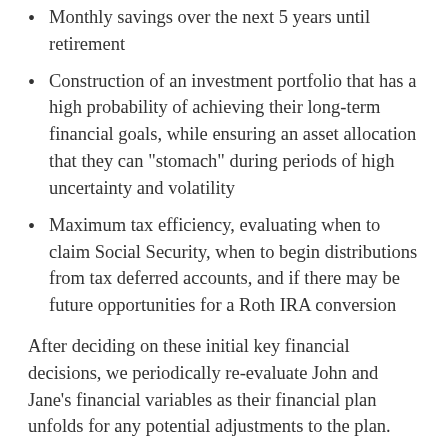Monthly savings over the next 5 years until retirement
Construction of an investment portfolio that has a high probability of achieving their long-term financial goals, while ensuring an asset allocation that they can “stomach” during periods of high uncertainty and volatility
Maximum tax efficiency, evaluating when to claim Social Security, when to begin distributions from tax deferred accounts, and if there may be future opportunities for a Roth IRA conversion
After deciding on these initial key financial decisions, we periodically re-evaluate John and Jane’s financial variables as their financial plan unfolds for any potential adjustments to the plan.
Capital markets are likely to continue to be volatile